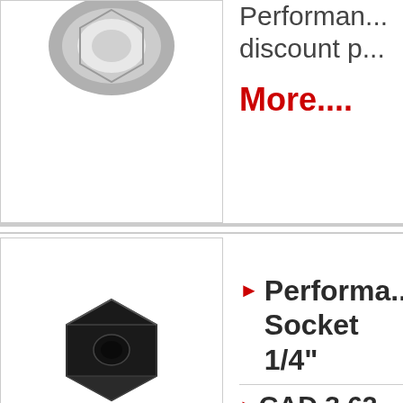[Figure (photo): Product image - small socket/nut hardware item, silver/gray color, top portion visible at top of page]
Performance discount p...
More....
[Figure (photo): Product image - black socket/nut hardware item, bottom portion visible]
▶ Performance Socket 1/4"
▶ CAD 3.62